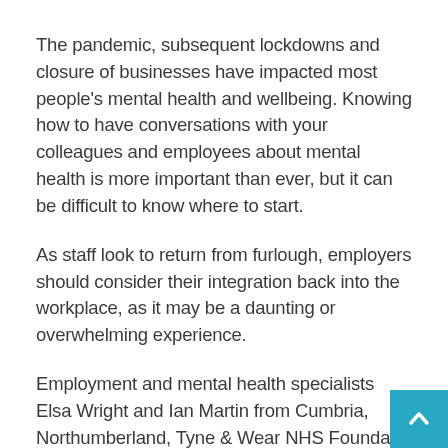The pandemic, subsequent lockdowns and closure of businesses have impacted most people's mental health and wellbeing. Knowing how to have conversations with your colleagues and employees about mental health is more important than ever, but it can be difficult to know where to start.
As staff look to return from furlough, employers should consider their integration back into the workplace, as it may be a daunting or overwhelming experience.
Employment and mental health specialists Elsa Wright and Ian Martin from Cumbria, Northumberland, Tyne & Wear NHS Foundation Trust guide you through the steps you can